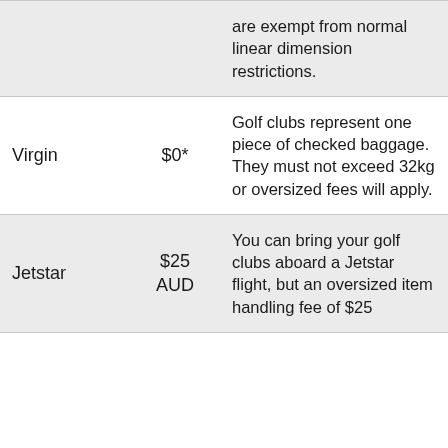| Airline | Fee | Notes |
| --- | --- | --- |
|  |  | are exempt from normal linear dimension restrictions. |
| Virgin | $0* | Golf clubs represent one piece of checked baggage. They must not exceed 32kg or oversized fees will apply. |
| Jetstar | $25 AUD | You can bring your golf clubs aboard a Jetstar flight, but an oversized item handling fee of $25 |